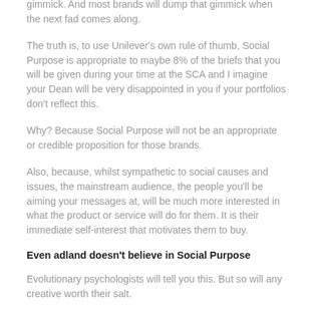gimmick. And most brands will dump that gimmick when the next fad comes along.
The truth is, to use Unilever's own rule of thumb, Social Purpose is appropriate to maybe 8% of the briefs that you will be given during your time at the SCA and I imagine your Dean will be very disappointed in you if your portfolios don't reflect this.
Why? Because Social Purpose will not be an appropriate or credible proposition for those brands.
Also, because, whilst sympathetic to social causes and issues, the mainstream audience, the people you'll be aiming your messages at, will be much more interested in what the product or service will do for them. It is their immediate self-interest that motivates them to buy.
Even adland doesn't believe in Social Purpose
Evolutionary psychologists will tell you this. But so will any creative worth their salt.